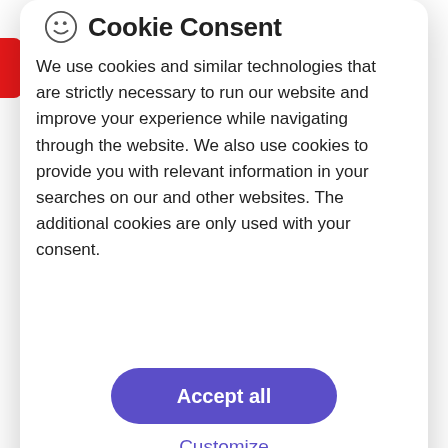Cookie Consent
We use cookies and similar technologies that are strictly necessary to run our website and improve your experience while navigating through the website. We also use cookies to provide you with relevant information in your searches on our and other websites. The additional cookies are only used with your consent.
Accept all
Customize
effective way to leverage consumer data to deliver content and experiences across all channels that feel timely, in-context, and personalized.
Request a demo